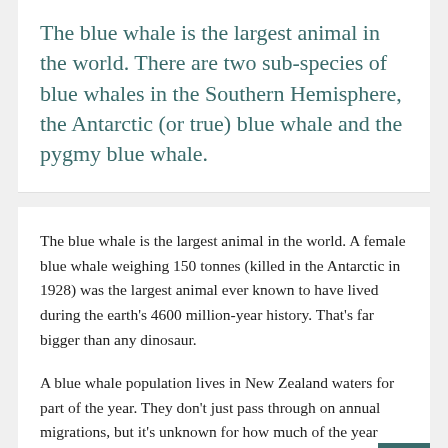The blue whale is the largest animal in the world. There are two sub-species of blue whales in the Southern Hemisphere, the Antarctic (or true) blue whale and the pygmy blue whale.
The blue whale is the largest animal in the world. A female blue whale weighing 150 tonnes (killed in the Antarctic in 1928) was the largest animal ever known to have lived during the earth's 4600 million-year history. That's far bigger than any dinosaur.
A blue whale population lives in New Zealand waters for part of the year. They don't just pass through on annual migrations, but it's unknown for how much of the year they are present. Acoustic and field research indicates this population has its own distinctive song, and a